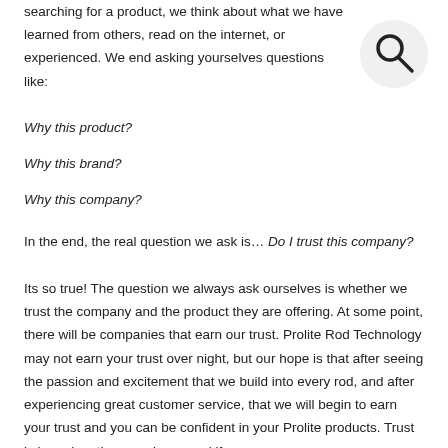searching for a product, we think about what we have learned from others, read on the internet, or experienced. We end asking yourselves questions like:
[Figure (illustration): Search/magnifying glass icon inside a light grey circle]
Why this product?
Why this brand?
Why this company?
In the end, the real question we ask is... Do I trust this company?
Its so true! The question we always ask ourselves is whether we trust the company and the product they are offering. At some point, there will be companies that earn our trust. Prolite Rod Technology may not earn your trust over night, but our hope is that after seeing the passion and excitement that we build into every rod, and after experiencing great customer service, that we will begin to earn your trust and you can be confident in your Prolite products. Trust is based on the experience and if